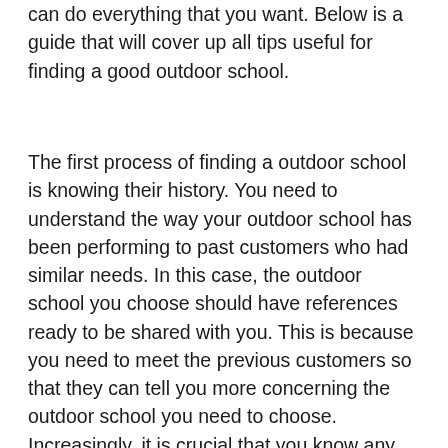can do everything that you want. Below is a guide that will cover up all tips useful for finding a good outdoor school.
The first process of finding a outdoor school is knowing their history. You need to understand the way your outdoor school has been performing to past customers who had similar needs. In this case, the outdoor school you choose should have references ready to be shared with you. This is because you need to meet the previous customers so that they can tell you more concerning the outdoor school you need to choose. Increasingly, it is crucial that you know any kind of weakness which you can find from the outdoor school you want to choose. So, ask the previous clients whether there is any challenge that they found while working with that outdoor school. Increasingly, the outdoor school you need to choose should have explained in details the services that they render. This can be seen through their site. You will know